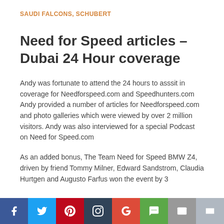SAUDI FALCONS, SCHUBERT
Need for Speed articles – Dubai 24 Hour coverage
Andy was fortunate to attend the 24 hours to asssit in coverage for Needforspeed.com and Speedhunters.com Andy provided a number of articles for Needforspeed.com and photo galleries which were viewed by over 2 million visitors. Andy was also interviewed for a special Podcast on Need for Speed.com
As an added bonus, The Team Need for Speed BMW Z4, driven by friend Tommy Milner, Edward Sandstrom, Claudia Hurtgen and Augusto Farfus won the event by 3